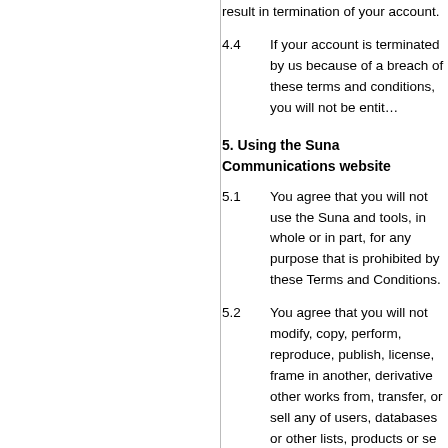result in termination of your account.
4.4	If your account is terminated by us because of a breach of these terms and conditions, you will not be entit...
5. Using the Suna Communications website
5.1	You agree that you will not use the Suna Communications website and tools, in whole or in part, for any purpose that is prohibited by these Terms and Conditions.
5.2	You agree that you will not modify, copy, perform, reproduce, publish, license, frame in another, derivative other works from, transfer, or sell any information of users, databases or other lists, products or services obtained from the Suna Communications site or related activities.
5.3	You shall not use the Suna Communications which could damage, disable, overburden, or ne Communication's brand or activities, or interfere and enjoyment of the Suna Communications website...
5.4	You may not use any of the visual or written...